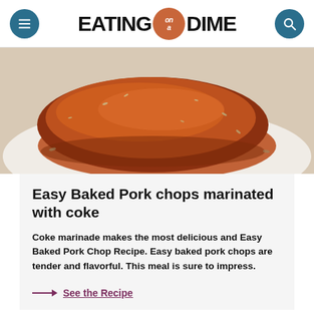EATING on a DIME
[Figure (photo): Close-up photo of baked pork chops covered in a reddish-brown sauce with herbs, served on a white plate]
Easy Baked Pork chops marinated with coke
Coke marinade makes the most delicious and Easy Baked Pork Chop Recipe. Easy baked pork chops are tender and flavorful. This meal is sure to impress.
→ See the Recipe